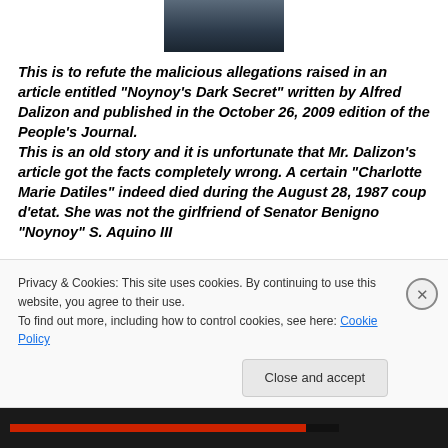[Figure (photo): Partial photo of a person in a dark suit, cropped at top of page]
This is to refute the malicious allegations raised in an article entitled "Noynoy's Dark Secret" written by Alfred Dalizon and published in the October 26, 2009 edition of the People's Journal. This is an old story and it is unfortunate that Mr. Dalizon's article got the facts completely wrong. A certain "Charlotte Marie Datiles" indeed died during the August 28, 1987 coup d'etat. She was not the girlfriend of Senator Benigno "Noynoy" S. Aquino III
Privacy & Cookies: This site uses cookies. By continuing to use this website, you agree to their use.
To find out more, including how to control cookies, see here: Cookie Policy